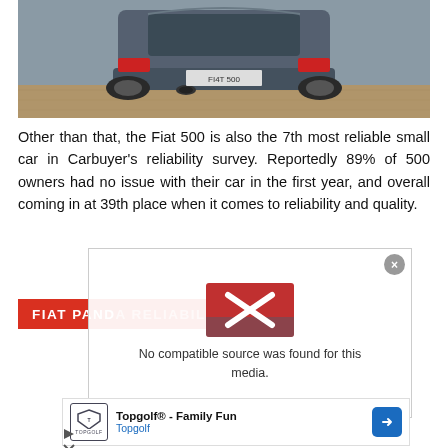[Figure (photo): Rear view of a dark grey/slate Fiat 500 hatchback photographed from behind, showing the rear bumper, exhaust, and red reflectors, on a gravel/asphalt surface]
Other than that, the Fiat 500 is also the 7th most reliable small car in Carbuyer's reliability survey. Reportedly 89% of 500 owners had no issue with their car in the first year, and overall coming in at 39th place when it comes to reliability and quality.
FIAT PANDA RELIABILITY
[Figure (screenshot): Video player overlay showing 'No compatible source was found for this media.' with a broken video thumbnail of a red car and an X placeholder icon]
[Figure (screenshot): Advertisement overlay for Topgolf showing 'Topgolf® - Family Fun' with Topgolf logo and arrow button]